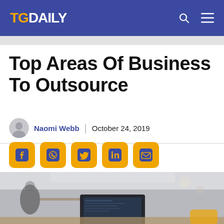TGDAILY
Top Areas Of Business To Outsource
Naomi Webb | October 24, 2019
[Figure (infographic): Social sharing buttons row: Facebook, WhatsApp, Twitter, LinkedIn, Email — all golden/amber color with dark blue rounded square backgrounds]
[Figure (photo): Blurred office workspace photo showing a computer monitor in the foreground with people working in the background]